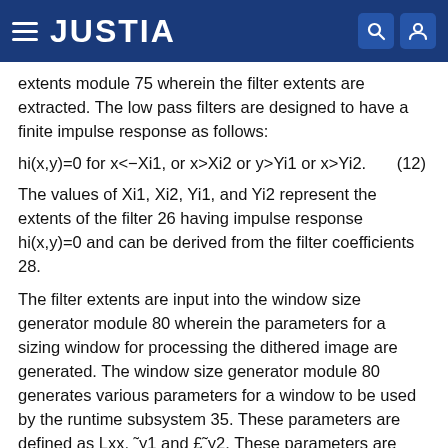JUSTIA
extents module 75 wherein the filter extents are extracted. The low pass filters are designed to have a finite impulse response as follows:
The values of Xi1, Xi2, Yi1, and Yi2 represent the extents of the filter 26 having impulse response hi(x,y)=0 and can be derived from the filter coefficients 28.
The filter extents are input into the window size generator module 80 wherein the parameters for a sizing window for processing the dithered image are generated. The window size generator module 80 generates various parameters for a window to be used by the runtime subsystem 35. These parameters are defined as Lxx, ˜y1 and £˜y2. These parameters are also related to the extents of the filter 26 as noted by